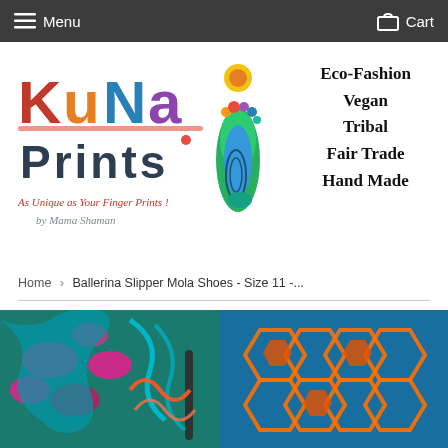Menu   Cart
[Figure (logo): Kuna Prints logo with colorful tribal lettering, footprint graphic, and taglines 'As Unique as Your Finger Prints! by Mama Shaman' alongside text 'Eco-Fashion Vegan Tribal Fair Trade Hand Made']
Home › Ballerina Slipper Mola Shoes - Size 11 -...
[Figure (photo): Close-up photo of colorful tribal Mola patterned slipper shoe with vibrant pink, teal, orange and blue geometric patterns]